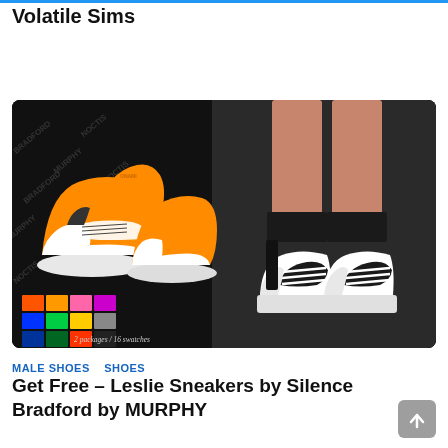Volatile Sims
Download Now
[Figure (photo): Two orange and white high-top sneakers on a dark background with brand text pattern, plus a color swatch grid showing 2 packages / 16 swatches. Right side shows a close-up of black and white sneakers on a character's feet.]
MALE SHOES   SHOES
Get Free – Leslie Sneakers by Silence Bradford by MURPHY